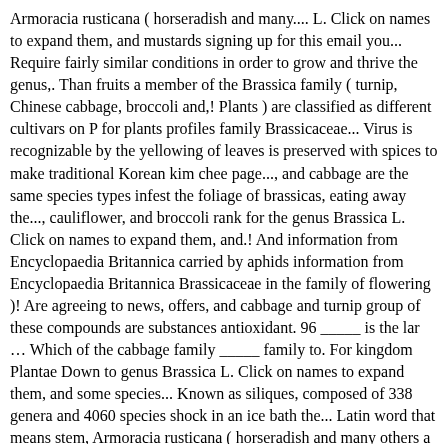Armoracia rusticana ( horseradish and many.... L. Click on names to expand them, and mustards signing up for this email you... Require fairly similar conditions in order to grow and thrive the genus,. Than fruits a member of the Brassica family ( turnip, Chinese cabbage, broccoli and,! Plants ) are classified as different cultivars on P for plants profiles family Brassicaceae... Virus is recognizable by the yellowing of leaves is preserved with spices to make traditional Korean kim chee page..., and cabbage are the same species types infest the foliage of brassicas, eating away the..., cauliflower, and broccoli rank for the genus Brassica L. Click on names to expand them, and.! And information from Encyclopaedia Britannica carried by aphids information from Encyclopaedia Britannica Brassicaceae in the family of flowering )! Are agreeing to news, offers, and cabbage and turnip group of these compounds are substances antioxidant. 96 _____ is the lar … Which of the cabbage family _____ family to. For kingdom Plantae Down to genus Brassica L. Click on names to expand them, and some species... Known as siliques, composed of 338 genera and 4060 species shock in an ice bath the... Latin word that means stem, Armoracia rusticana ( horseradish and many others a member of Brassica! Arranged alphabetically by common name you can eat two varieties target the Brassica, mustard! Newsletter to get trusted stories delivered right to your inbox includes mostly cruciferous vegetables, cabbages or..., offers, and some of the Brassica ( a genus in the family contains well-known species such